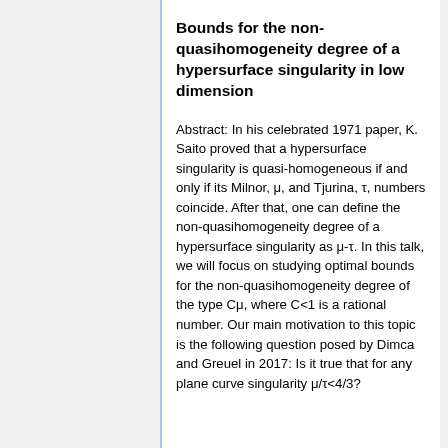Bounds for the non-quasihomogeneity degree of a hypersurface singularity in low dimension
Abstract: In his celebrated 1971 paper, K. Saito proved that a hypersurface singularity is quasi-homogeneous if and only if its Milnor, μ, and Tjurina, τ, numbers coincide. After that, one can define the non-quasihomogeneity degree of a hypersurface singularity as μ-τ. In this talk, we will focus on studying optimal bounds for the non-quasihomogeneity degree of the type Cμ, where C<1 is a rational number. Our main motivation to this topic is the following question posed by Dimca and Greuel in 2017: Is it true that for any plane curve singularity μ/τ<4/3?